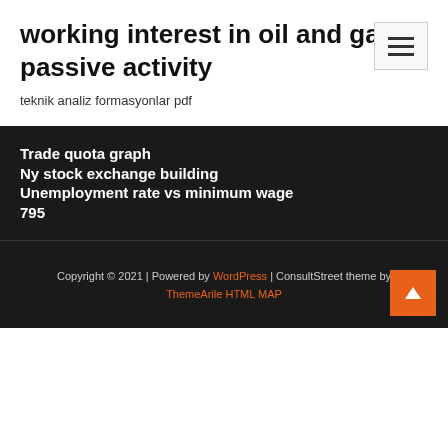working interest in oil and gas passive activity
teknik analiz formasyonlar pdf
Trade quota graph
Ny stock exchange building
Unemployment rate vs minimum wage
795
Copyright © 2021 | Powered by WordPress | ConsultStreet theme by ThemeArile HTML MAP